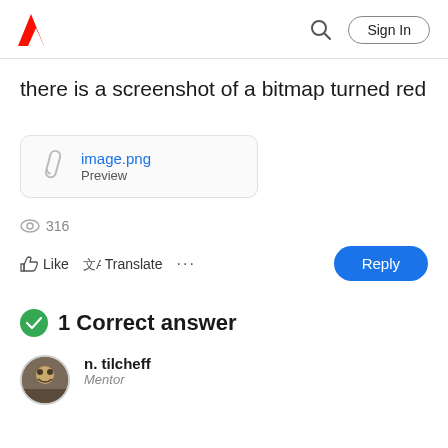Adobe | Sign In
there is a screenshot of a bitmap turned red
[Figure (other): Attachment link: image.png with Preview label and paperclip icon]
316
Like  Translate  ...  Reply
1 Correct answer
n. tilcheff
Mentor